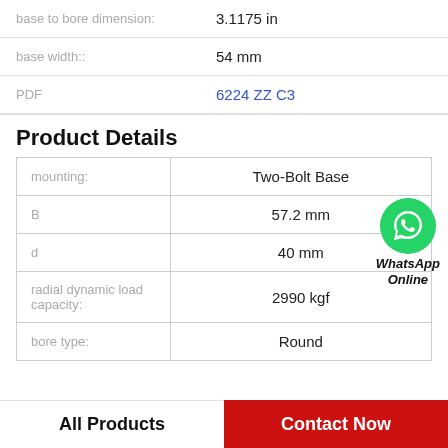| Property | Value |
| --- | --- |
| base to bore dimension: | 3.1175 in |
| base width:: | 54 mm |
| PDF | 6224 ZZ C3 |
Product Details
| Property | Value |
| --- | --- |
| mounting: | Two-Bolt Base |
| B | 57.2 mm |
| d | 40 mm |
| radial dynamic load capacity: | 2990 kgf |
| bore type: | Round |
All Products
Contact Now